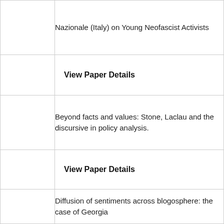Nazionale (Italy) on Young Neofascist Activists
View Paper Details
Beyond facts and values: Stone, Laclau and the discursive in policy analysis.
View Paper Details
Diffusion of sentiments across blogosphere: the case of Georgia
View Paper Details
Diffusion of sentiments across blogosphere: the case of Georgia